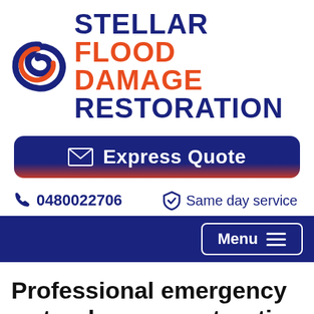[Figure (logo): Stellar Flood Damage Restoration logo with swirl icon and two-line text]
[Figure (other): Express Quote button with envelope icon, dark blue gradient background]
0480022706
Same day service
Menu
Professional emergency water damage restoration in Durham Lead